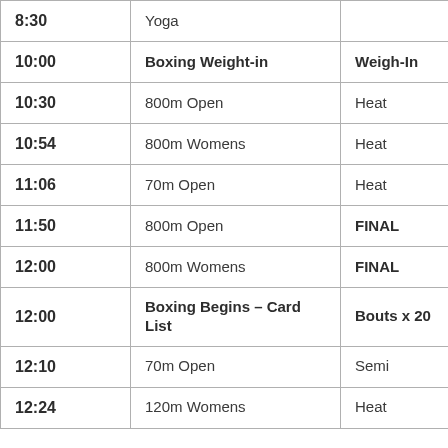| Time | Event | Status |
| --- | --- | --- |
| 8:30 | [truncated] Yoga |  |
| 10:00 | Boxing Weight-in | Weigh-In |
| 10:30 | 800m Open | Heat |
| 10:54 | 800m Womens | Heat |
| 11:06 | 70m Open | Heat |
| 11:50 | 800m Open | FINAL |
| 12:00 | 800m Womens | FINAL |
| 12:00 | Boxing Begins – Card List | Bouts x 20 |
| 12:10 | 70m Open | Semi |
| 12:24 | 120m Womens | Heat |